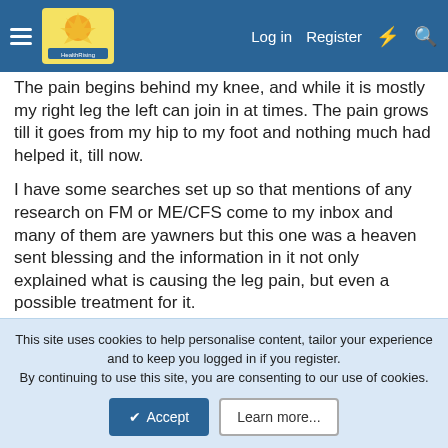HealthRising — Log in | Register
The pain begins behind my knee, and while it is mostly my right leg the left can join in at times. The pain grows till it goes from my hip to my foot and nothing much had helped it, till now.
I have some searches set up so that mentions of any research on FM or ME/CFS come to my inbox and many of them are yawners but this one was a heaven sent blessing and the information in it not only explained what is causing the leg pain, but even a possible treatment for it.
In the most recent edition of the Journal of Neuroinflammation, there is THIS ARTICLE about a study done by a group of researchers in Japan about what may be going on with chronic pain in CFS
This site uses cookies to help personalise content, tailor your experience and to keep you logged in if you register.
By continuing to use this site, you are consenting to our use of cookies.